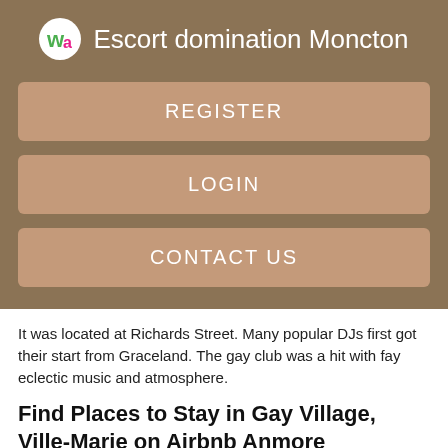Escort domination Moncton
REGISTER
LOGIN
CONTACT US
It was located at Richards Street. Many popular DJs first got their start from Graceland. The gay club was a hit with fay eclectic music and atmosphere.
Find Places to Stay in Gay Village, Ville-Marie on Airbnb Anmore
A popular Gastown venue for rock music in particular. It ran from to and hosted some impressive talent, including Nirvana, No Doubt and Pearl Jam.